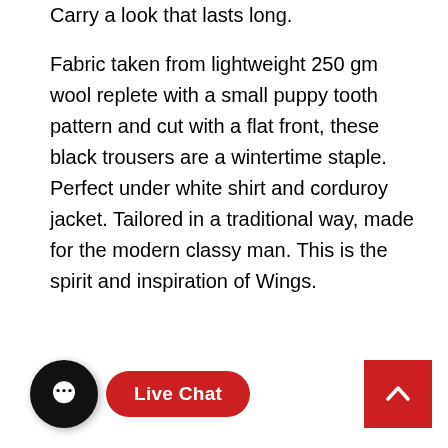Carry a look that lasts long. Fabric taken from lightweight 250 gm wool replete with a small puppy tooth pattern and cut with a flat front, these black trousers are a wintertime staple. Perfect under white shirt and corduroy jacket. Tailored in a traditional way, made for the modern classy man. This is the spirit and inspiration of Wings.
[Figure (screenshot): Live Chat button with chat bubble icon (black circle with ellipsis speech bubble) and red pill-shaped 'Live Chat' label, plus a red scroll-to-top button with an upward chevron arrow in the bottom right]